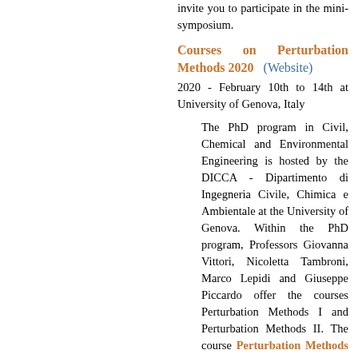invite you to participate in the mini-symposium.
Courses on Perturbation Methods 2020   (Website)
2020 - February 10th to 14th at University of Genova, Italy
The PhD program in Civil, Chemical and Environmental Engineering is hosted by the DICCA - Dipartimento di Ingegneria Civile, Chimica e Ambientale at the University of Genova. Within the PhD program, Professors Giovanna Vittori, Nicoletta Tambroni, Marco Lepidi and Giuseppe Piccardo offer the courses Perturbation Methods I and Perturbation Methods II. The course Perturbation Methods I (PMI, 10 hours, 2 credits, lectures by G. Vittori and N. Tambroni, download) introduces